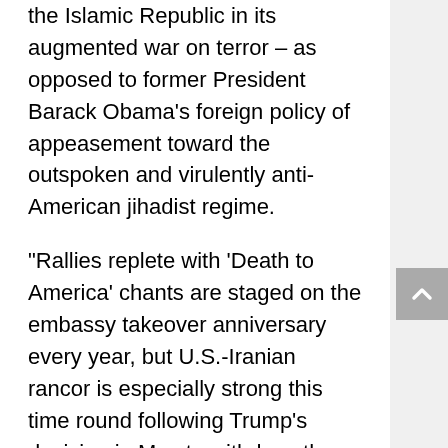the Islamic Republic in its augmented war on terror – as opposed to former President Barack Obama's foreign policy of appeasement toward the outspoken and virulently anti-American jihadist regime.
“Rallies replete with ‘Death to America’ chants are staged on the embassy takeover anniversary every year, but U.S.-Iranian rancor is especially strong this time round following Trump’s decision in May to withdraw the United States from world powers’ 2015 nuclear deal with Iran and reimpose sanctions on Tehran,” the